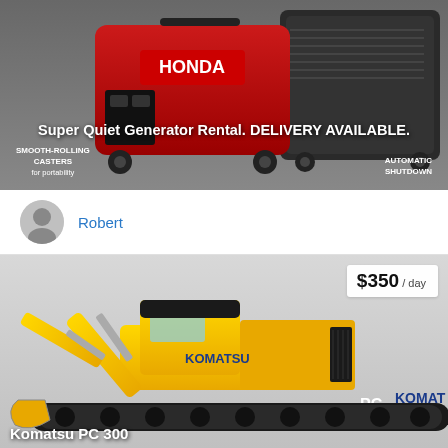[Figure (photo): Product photo of a Honda super quiet portable generator (red and black) on a grey background, with overlay text 'SMOOTH-ROLLING CASTERS for portability' on left and 'AUTOMATIC SHUTDOWN' on right]
Super Quiet Generator Rental. DELIVERY AVAILABLE.
Robert
[Figure (photo): Product photo of a yellow Komatsu PC 300 excavator on a grey/white background, with price badge showing $350 / day]
$350 / day
Komatsu PC 300